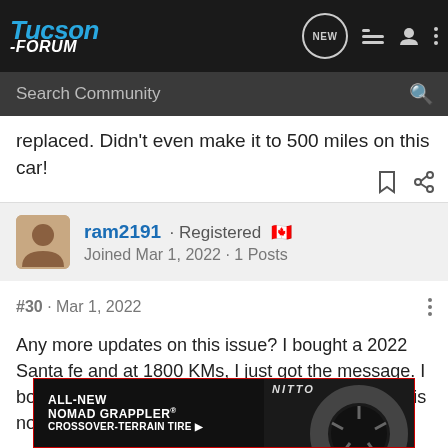Tucson-FORUM · Search Community
replaced. Didn't even make it to 500 miles on this car!
ram2191 · Registered
Joined Mar 1, 2022 · 1 Posts
#30 · Mar 1, 2022
Any more updates on this issue? I bought a 2022 Santa fe and at 1800 KMs, I just got the message. I booked an appointment for tomorrow. Hopefully it is not a big problem🙂
[Figure (photo): Advertisement banner for Nitto All-New Nomad Grappler Crossover-Terrain Tire showing tire and dark background]